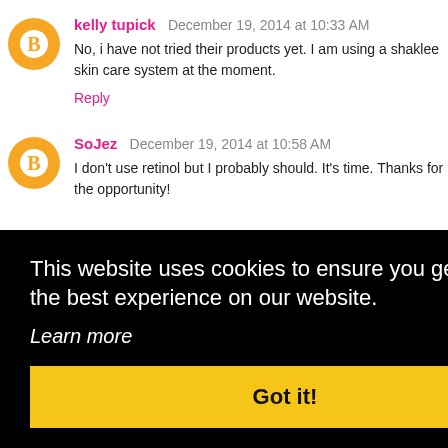kelly tupick December 19, 2014 at 10:33 AM
No, i have not tried their products yet. I am using a shaklee skin care system at the moment.
Reply
SoJez December 19, 2014 at 10:58 AM
I don't use retinol but I probably should. It's time. Thanks for the opportunity!
This website uses cookies to ensure you get the best experience on our website.
Learn more
Got it!